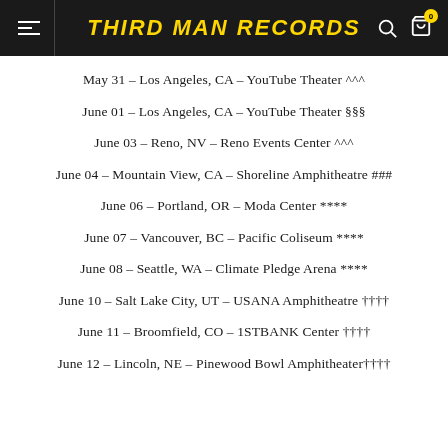THIRD MAN RECORDS
May 31 – Los Angeles, CA – YouTube Theater ^^^
June 01 – Los Angeles, CA – YouTube Theater §§§
June 03 – Reno, NV – Reno Events Center ^^^
June 04 – Mountain View, CA – Shoreline Amphitheatre ###
June 06 – Portland, OR – Moda Center ****
June 07 – Vancouver, BC – Pacific Coliseum ****
June 08 – Seattle, WA – Climate Pledge Arena ****
June 10 – Salt Lake City, UT – USANA Amphitheatre ††††
June 11 – Broomfield, CO – 1STBANK Center ††††
June 12 – Lincoln, NE – Pinewood Bowl Amphitheater††††